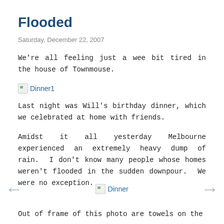Flooded
Saturday, December 22, 2007
We're all feeling just a wee bit tired in the house of Townmouse.
[Figure (photo): Broken image placeholder labeled Dinner1]
Last night was Will's birthday dinner, which we celebrated at home with friends.
Amidst it all yesterday Melbourne experienced an extremely heavy dump of rain.  I don't know many people whose homes weren't flooded in the sudden downpour.  We were no exception.
[Figure (photo): Broken image placeholder labeled Dinner]
Out of frame of this photo are towels on the